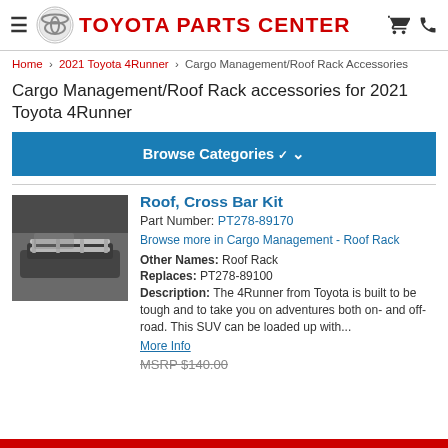TOYOTA PARTS CENTER
Home > 2021 Toyota 4Runner > Cargo Management/Roof Rack Accessories
Cargo Management/Roof Rack accessories for 2021 Toyota 4Runner
Browse Categories
[Figure (photo): Photo of a Toyota 4Runner roof with cross bar kit installed, showing silver roof rack bars on a dark-colored SUV.]
Roof, Cross Bar Kit
Part Number: PT278-89170
Browse more in Cargo Management - Roof Rack
Other Names: Roof Rack
Replaces: PT278-89100
Description: The 4Runner from Toyota is built to be tough and to take you on adventures both on- and off- road. This SUV can be loaded up with...
More Info
MSRP $140.00